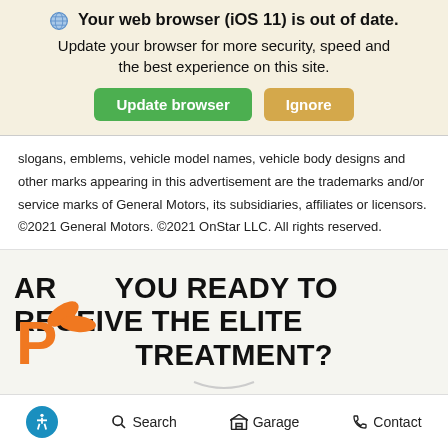Your web browser (iOS 11) is out of date. Update your browser for more security, speed and the best experience on this site.
Update browser | Ignore
slogans, emblems, vehicle model names, vehicle body designs and other marks appearing in this advertisement are the trademarks and/or service marks of General Motors, its subsidiaries, affiliates or licensors. ©2021 General Motors. ©2021 OnStar LLC. All rights reserved.
ARE YOU READY TO RECEIVE THE ELITE TREATMENT?
[Figure (logo): Pushpay orange logo with stylized P and hand/leaves icon]
Accessibility Search Garage Contact